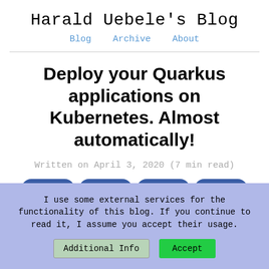Harald Uebele's Blog
Blog   Archive   About
Deploy your Quarkus applications on Kubernetes. Almost automatically!
Written on April 3, 2020 (7 min read)
I use some external services for the functionality of this blog. If you continue to read it, I assume you accept their usage.
Additional Info   Accept